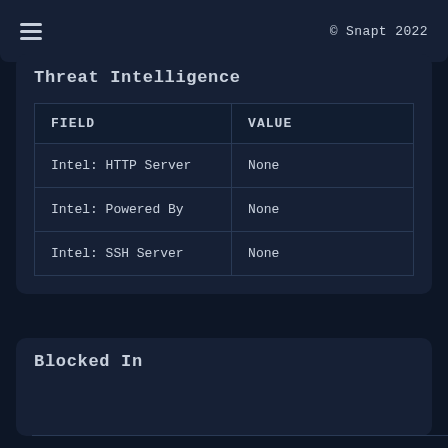© Snapt 2022
Threat Intelligence
| FIELD | VALUE |
| --- | --- |
| Intel: HTTP Server | None |
| Intel: Powered By | None |
| Intel: SSH Server | None |
Blocked In